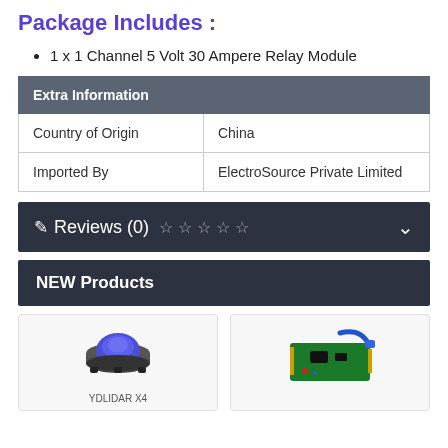Package Includes :
1 x 1 Channel 5 Volt 30 Ampere Relay Module
| Extra Information |
| --- |
| Country of Origin | China |
| Imported By | ElectroSource Private Limited |
Reviews (0) ☆ ☆ ☆ ☆ ☆
NEW Products
[Figure (photo): YDLIDAR X4 sensor product image]
[Figure (photo): Arduino Mega compatible board with USB cable product image]